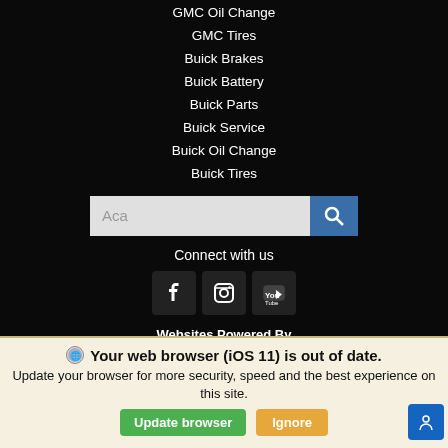GMC Oil Change
GMC Tires
Buick Brakes
Buick Battery
Buick Parts
Buick Service
Buick Oil Change
Buick Tires
Connect with us
[Figure (logo): Fox Dealer logo with text Websites Powered By FOX DEALER]
Your web browser (iOS 11) is out of date. Update your browser for more security, speed and the best experience on this site.